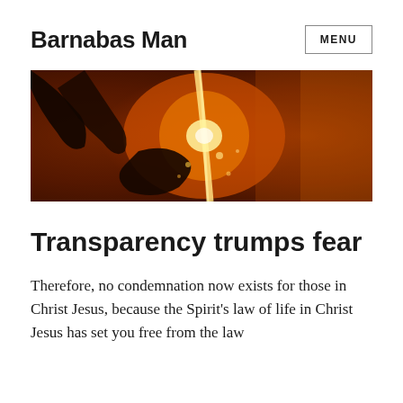Barnabas Man
[Figure (photo): A close-up photo showing molten metal or fire being poured, with warm orange and dark tones suggesting heat and intensity.]
Transparency trumps fear
Therefore, no condemnation now exists for those in Christ Jesus, because the Spirit’s law of life in Christ Jesus has set you free from the law